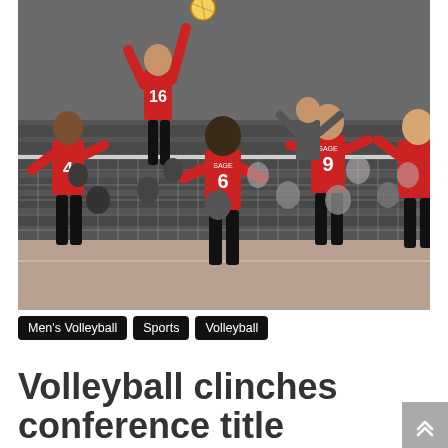[Figure (photo): Volleyball players in red jerseys numbered 4, 6, 9, 16, and another player on a gymnasium court. Player 16 is jumping and spiking a volleyball over the net while teammates and spectators watch from bleachers in the background.]
Men's Volleyball
Sports
Volleyball
Volleyball clinches conference title